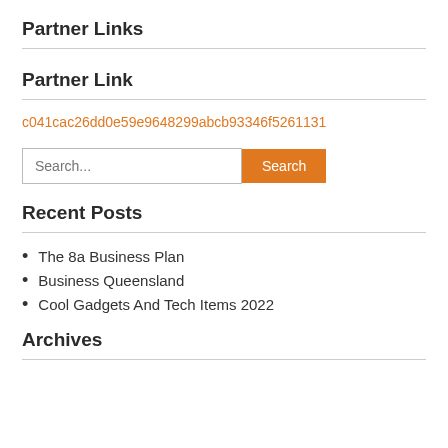Partner Links
Partner Link
c041cac26dd0e59e9648299abcb93346f5261131
Search...
Recent Posts
The 8a Business Plan
Business Queensland
Cool Gadgets And Tech Items 2022
Archives